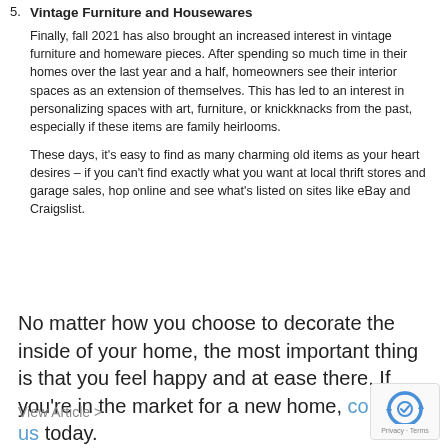5. Vintage Furniture and Housewares
Finally, fall 2021 has also brought an increased interest in vintage furniture and homeware pieces. After spending so much time in their homes over the last year and a half, homeowners see their interior spaces as an extension of themselves. This has led to an interest in personalizing spaces with art, furniture, or knickknacks from the past, especially if these items are family heirlooms.

These days, it's easy to find as many charming old items as your heart desires – if you can't find exactly what you want at local thrift stores and garage sales, hop online and see what's listed on sites like eBay and Craigslist.
No matter how you choose to decorate the inside of your home, the most important thing is that you feel happy and at ease there. If you're in the market for a new home, contact us today.
View Article >